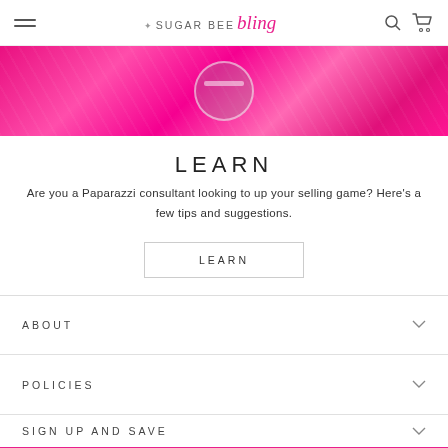SUGAR BEE bling
[Figure (photo): Pink background with feet in sandals visible, decorative pink packaging/tissue paper]
LEARN
Are you a Paparazzi consultant looking to up your selling game? Here's a few tips and suggestions.
LEARN
ABOUT
POLICIES
SIGN UP AND SAVE